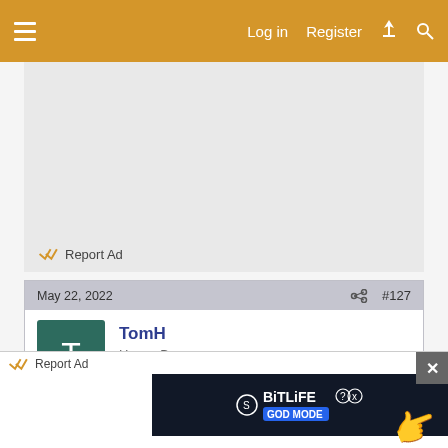Log in   Register
[Figure (other): Gray advertisement placeholder area with Report Ad link at bottom]
May 22, 2022   #127
TomH
House Bee
Do224 said: ↑
Were both boxes baited the same?
[Figure (other): Report Ad bar with BitLife GOD MODE advertisement banner and close button]